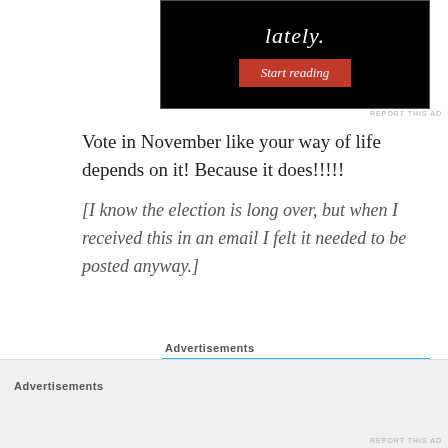[Figure (screenshot): Advertisement banner with black background showing italic text 'lately.' and a red 'Start reading' button]
REPORT THIS AD
Vote in November like your way of life depends on it! Because it does!!!!!
[I know the election is long over, but when I received this in an email I felt it needed to be posted anyway.]
Advertisements
[Figure (screenshot): Advertisement banner with light blue background showing a phone and book graphics]
Advertisements
REPORT THIS AD